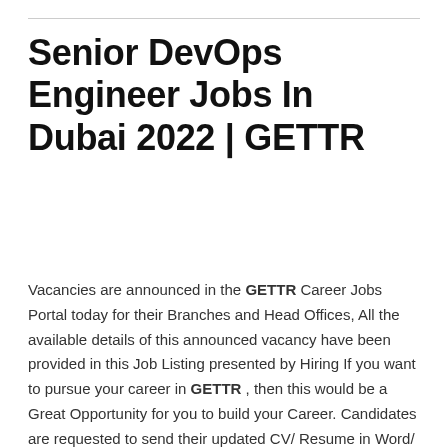Senior DevOps Engineer Jobs In Dubai 2022 | GETTR
Vacancies are announced in the GETTR Career Jobs Portal today for their Branches and Head Offices, All the available details of this announced vacancy have been provided in this Job Listing presented by Hiring If you want to pursue your career in GETTR , then this would be a Great Opportunity for you to build your Career. Candidates are requested to send their updated CV/ Resume in Word/ PDF file only. Best of luck!